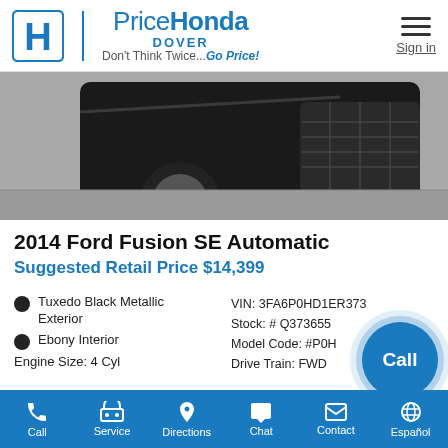[Figure (logo): Price Honda Dover dealership logo with Honda H emblem and tagline 'Don't Think Twice...Go Price!']
[Figure (photo): Close-up front view of a black 2014 Ford Fusion SE showing the front grille, hood, and wheel on pavement]
2014 Ford Fusion SE Automatic
Suggested Retail Price $14,399
Tuxedo Black Metallic Exterior
Ebony Interior
Engine Size: 4 Cyl
VIN: 3FA6P0HD1ER373...
Stock: # Q373655
Model Code: #P0H
Drive Train: FWD
Call | Service | Directions | Chat | Contact | Español